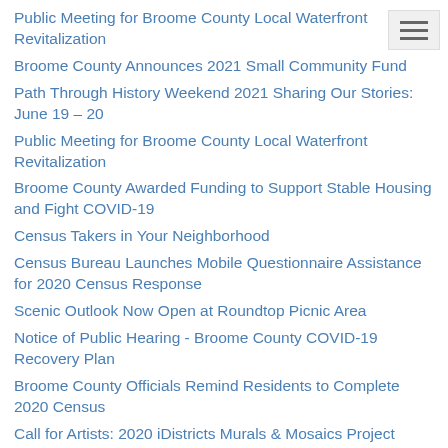Public Meeting for Broome County Local Waterfront Revitalization
Broome County Announces 2021 Small Community Fund
Path Through History Weekend 2021 Sharing Our Stories: June 19 – 20
Public Meeting for Broome County Local Waterfront Revitalization
Broome County Awarded Funding to Support Stable Housing and Fight COVID-19
Census Takers in Your Neighborhood
Census Bureau Launches Mobile Questionnaire Assistance for 2020 Census Response
Scenic Outlook Now Open at Roundtop Picnic Area
Notice of Public Hearing - Broome County COVID-19 Recovery Plan
Broome County Officials Remind Residents to Complete 2020 Census
Call for Artists: 2020 iDistricts Murals & Mosaics Project
Broome County Announces 2020 Small Community Fund